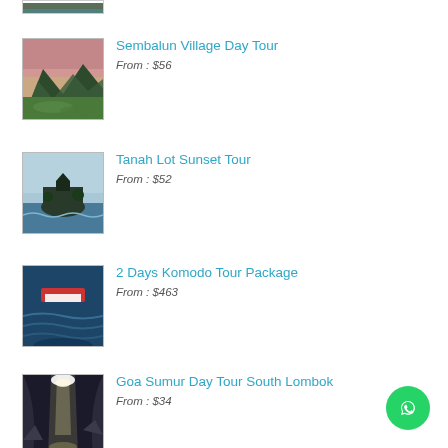[Figure (photo): Partial thumbnail of a waterfall or nature scene at top of page]
[Figure (photo): Mountain valley landscape thumbnail - Sembalun Village]
Sembalun Village Day Tour
From : $56
[Figure (photo): Coastal rock/temple scene thumbnail - Tanah Lot]
Tanah Lot Sunset Tour
From : $52
[Figure (photo): Underwater/boat scene thumbnail - Komodo]
2 Days Komodo Tour Package
From : $463
[Figure (photo): Cave with light beam thumbnail - Goa Sumur]
Goa Sumur Day Tour South Lombok
From : $34